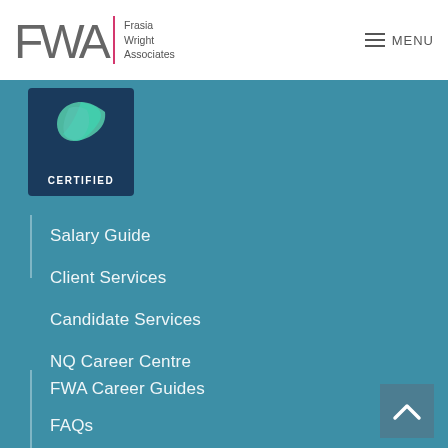[Figure (logo): FWA logo with geometric letter marks and text 'Frasia Wright Associates', separated by a pink vertical divider line]
≡ MENU
[Figure (illustration): Certified badge with dark navy background, green/blue leaf shape, and text 'CERTIFIED']
Salary Guide
Client Services
Candidate Services
NQ Career Centre
FWA Career Guides
FAQs